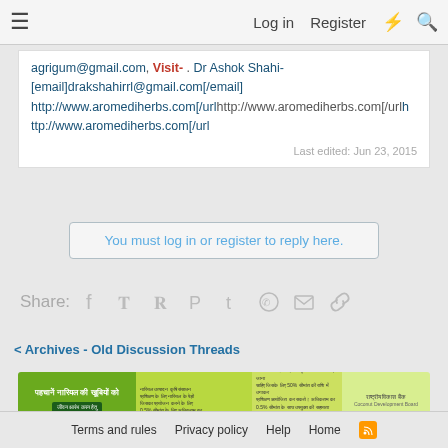Log in  Register
agrigum@gmail.com, Visit- . Dr Ashok Shahi-
[email]drakshahirrl@gmail.com[/email]
http://www.aromediherbs.com[/url]http://www.aromediherbs.com[/url]http://www.aromediherbs.com[/url
Last edited: Jun 23, 2015
You must log in or register to reply here.
Share:
< Archives - Old Discussion Threads
[Figure (infographic): Hindi language advertisement banner for coconut farming/agriculture, green background with Hindi text and logos]
Terms and rules  Privacy policy  Help  Home